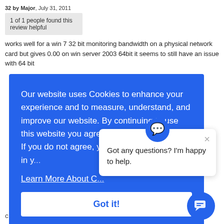32 by Major, July 31, 2011
1 of 1 people found this review helpful
works well for a win 7 32 bit monitoring bandwidth on a physical network card but gives 0.00 on win server 2003 64bit it seems to still have an issue with 64 bit
[Figure (screenshot): Cookie consent overlay with blue background reading: 'Our website uses Cookies to enhance your experience and to measure, understand, and improve our website. By continuing to use this website you agree to the use of cookies. If you do not agree, you can disable Cookies in y... Learn More About C... Got it!' button, and a chat popup with 'Got any questions? I'm happy to help.' and a chat circle button.]
command_name